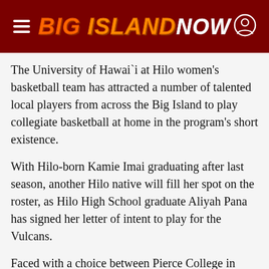BIG ISLAND NOW
The University of Hawai`i at Hilo women's basketball team has attracted a number of talented local players from across the Big Island to play collegiate basketball at home in the program's short existence.
With Hilo-born Kamie Imai graduating after last season, another Hilo native will fill her spot on the roster, as Hilo High School graduate Aliyah Pana has signed her letter of intent to play for the Vulcans.
Faced with a choice between Pierce College in Washington and UH-Hilo, Pana faced a difficult decision. UH-Hilo's offer of a full-ride scholarship helped in the decision, but the people close to her